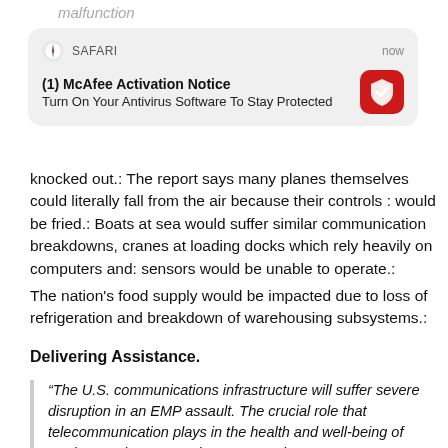malfunction
[Figure (screenshot): Safari browser notification popup from McAfee: '(1) McAfee Activation Notice - Turn On Your Antivirus Software To Stay Protected', with McAfee logo icon on the right, timestamp 'now']
knocked out.: The report says many planes themselves could literally fall from the air because their controls : would be fried.: Boats at sea would suffer similar communication breakdowns, cranes at loading docks which rely heavily on computers and: sensors would be unable to operate.:
The nation's food supply would be impacted due to loss of refrigeration and breakdown of warehousing subsystems.:
Delivering Assistance.
“The U.S. communications infrastructure will suffer severe disruption in an EMP assault. The crucial role that telecommunication plays in the health and well-being of modern society cannot be overstated.
The Heritage report says fiber optic cable is resistant to EMP attack so facilities with fiber are more likely to survive.: